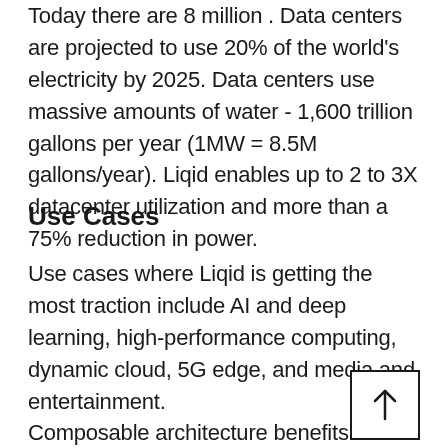Today there are 8 million . Data centers are projected to use 20% of the world's electricity by 2025. Data centers use massive amounts of water - 1,600 trillion gallons per year (1MW = 8.5M gallons/year). Liqid enables up to 2 to 3X datacenter utilization and more than a 75% reduction in power.
Use Cases
Use cases where Liqid is getting the most traction include AI and deep learning, high-performance computing, dynamic cloud, 5G edge, and media and entertainment.
Composable architecture benefits value, mission-critical workloads.